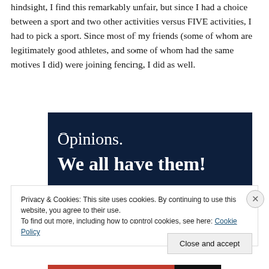hindsight, I find this remarkably unfair, but since I had a choice between a sport and two other activities versus FIVE activities, I had to pick a sport. Since most of my friends (some of whom are legitimately good athletes, and some of whom had the same motives I did) were joining fencing, I did as well.
[Figure (other): Advertisement banner with dark navy background showing text 'Opinions. We all have them!' with a pink button and circular element at bottom]
Privacy & Cookies: This site uses cookies. By continuing to use this website, you agree to their use.
To find out more, including how to control cookies, see here: Cookie Policy
Close and accept